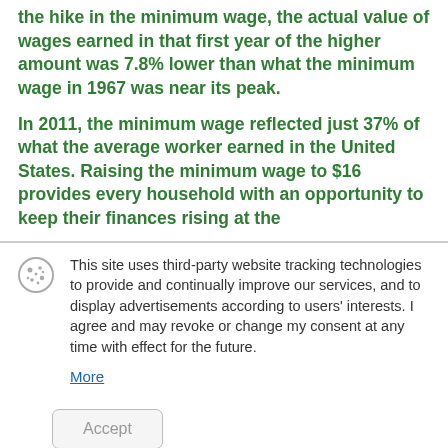the hike in the minimum wage, the actual value of wages earned in that first year of the higher amount was 7.8% lower than what the minimum wage in 1967 was near its peak.
In 2011, the minimum wage reflected just 37% of what the average worker earned in the United States. Raising the minimum wage to $16 provides every household with an opportunity to keep their finances rising at the
This site uses third-party website tracking technologies to provide and continually improve our services, and to display advertisements according to users' interests. I agree and may revoke or change my consent at any time with effect for the future.
More
Accept